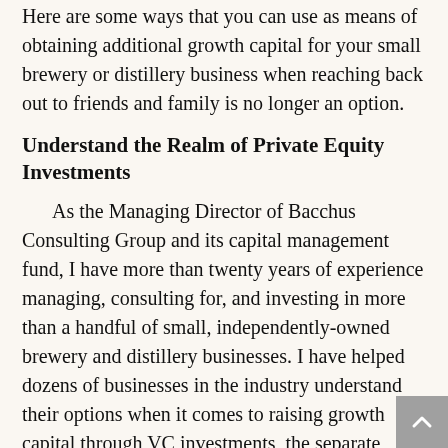Here are some ways that you can use as means of obtaining additional growth capital for your small brewery or distillery business when reaching back out to friends and family is no longer an option.
Understand the Realm of Private Equity Investments
As the Managing Director of Bacchus Consulting Group and its capital management fund, I have more than twenty years of experience managing, consulting for, and investing in more than a handful of small, independently-owned brewery and distillery businesses. I have helped dozens of businesses in the industry understand their options when it comes to raising growth capital through VC investments, the separate stages of fundraising, and the impact that each fundraising option has on those businesses.
Private Equity Funding
When the time comes to look into raising growth capital